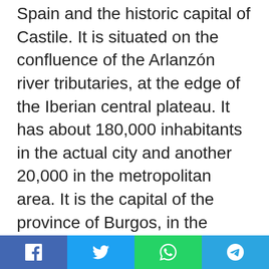Spain and the historic capital of Castile. It is situated on the confluence of the Arlanzón river tributaries, at the edge of the Iberian central plateau. It has about 180,000 inhabitants in the actual city and another 20,000 in the metropolitan area. It is the capital of the province of Burgos, in the autonomous community of Castile and León. Burgos was once the capital of the Crown of Castile, and the Burgos Laws or Leyes de Burgos which first governed the behaviour of Spaniards towards the natives of the Americas were promulgated here in 1512.It has many historic landmarks, of particular importance; the Cathedral of Burgos (declared World Heritage Site by UNESCO in 1984), Las Huelgas
Social share bar: Facebook, Twitter, WhatsApp, Telegram